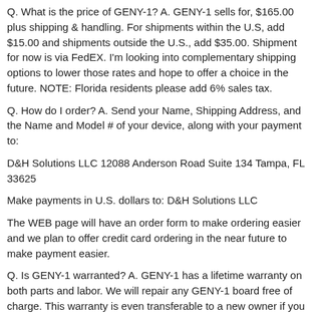Q. What is the price of GENY-1? A. GENY-1 sells for, $165.00 plus shipping & handling. For shipments within the U.S, add $15.00 and shipments outside the U.S., add $35.00. Shipment for now is via FedEX. I'm looking into complementary shipping options to lower those rates and hope to offer a choice in the future. NOTE: Florida residents please add 6% sales tax.
Q. How do I order? A. Send your Name, Shipping Address, and the Name and Model # of your device, along with your payment to:
D&H Solutions LLC 12088 Anderson Road Suite 134 Tampa, FL 33625
Make payments in U.S. dollars to: D&H Solutions LLC
The WEB page will have an order form to make ordering easier and we plan to offer credit card ordering in the near future to make payment easier.
Q. Is GENY-1 warranted? A. GENY-1 has a lifetime warranty on both parts and labor. We will repair any GENY-1 board free of charge. This warranty is even transferable to a new owner if you should no longer require the unit. Shipping both to and from D&H Solutions is not included in this warranty and will be the responsibility of those sending us the unit.